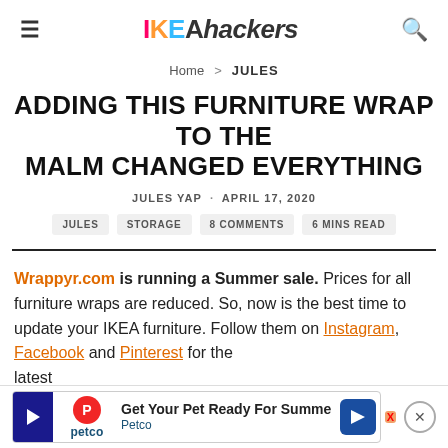IKEAhackers
Home > JULES
ADDING THIS FURNITURE WRAP TO THE MALM CHANGED EVERYTHING
JULES YAP · APRIL 17, 2020
JULES
STORAGE
8 COMMENTS
6 MINS READ
Wrappyr.com is running a Summer sale. Prices for all furniture wraps are reduced. So, now is the best time to update your IKEA furniture. Follow them on Instagram, Facebook and Pinterest for the latest
[Figure (other): Petco advertisement banner: Get Your Pet Ready For Summer - Petco]